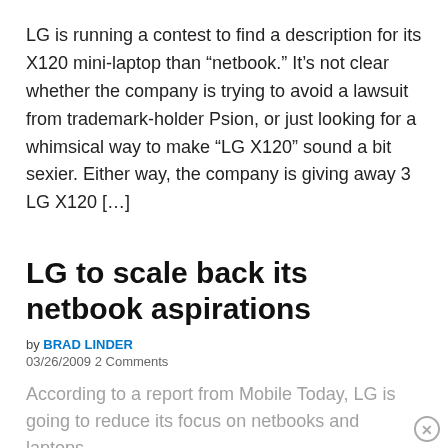LG is running a contest to find a description for its X120 mini-laptop than “netbook.” It’s not clear whether the company is trying to avoid a lawsuit from trademark-holder Psion, or just looking for a whimsical way to make “LG X120” sound a bit sexier. Either way, the company is giving away 3 LG X120 […]
LG to scale back its netbook aspirations
by BRAD LINDER
03/26/2009 2 Comments
According to a report from Mobile Today, LG is going to reduce its focus on netbooks and laptops